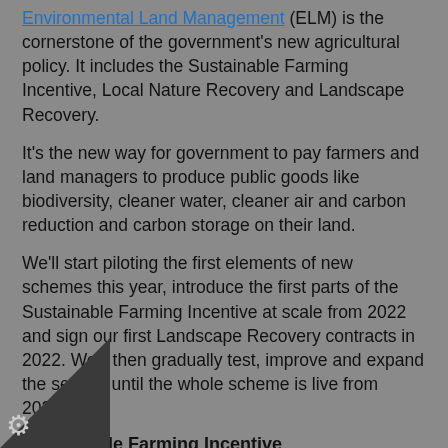[Environmental Land Management] (ELM) is the cornerstone of the government's new agricultural policy. It includes the Sustainable Farming Incentive, Local Nature Recovery and Landscape Recovery.
It's the new way for government to pay farmers and land managers to produce public goods like biodiversity, cleaner water, cleaner air and carbon reduction and carbon storage on their land.
We'll start piloting the first elements of new schemes this year, introduce the first parts of the Sustainable Farming Incentive at scale from 2022 and sign our first Landscape Recovery contracts in 2022. We'll then gradually test, improve and expand the service until the whole scheme is live from 2024.
Sustainable Farming Incentive
The Sustainable Farming Incentive will provide a straightforward way for farmers to get paid to produce public goods on their land.
...art to pilot the Sustainable Farming Incentive this